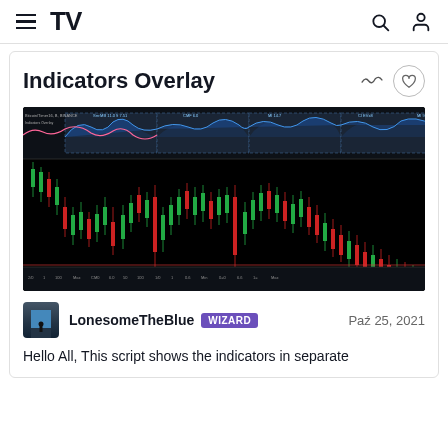TradingView navigation bar with hamburger menu, TV logo, search icon, and user icon
Indicators Overlay
[Figure (screenshot): TradingView chart screenshot showing Bitcoin candlestick chart on black background with green and red candles, overlay indicator panel at top with blue area chart and pink/white lines, price on right axis showing values around 5000-6000, time axis at bottom with various dates]
LonesomeTheBlue WIZARD  Paź 25, 2021
Hello All, This script shows the indicators in separate